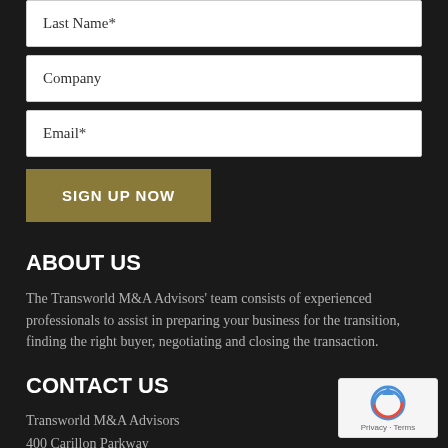Last Name*
Company
Email*
SIGN UP NOW
ABOUT US
The Transworld M&A Advisors' team consists of experienced professionals to assist in preparing your business for the transition, finding the right buyer, negotiating and closing the transaction.
CONTACT US
Transworld M&A Advisors
400 Carillon Parkway
[Figure (other): reCAPTCHA widget badge with circular arrow logo and Privacy - Terms links]